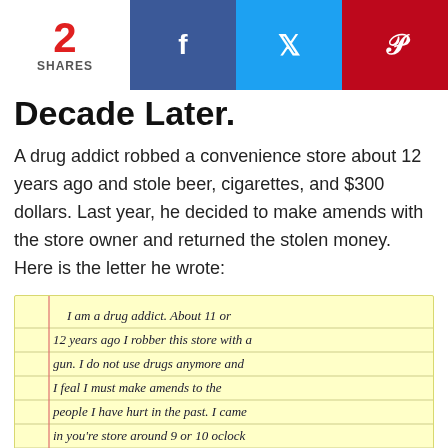2 SHARES | f | 🐦 | p
Decade Later.
A drug addict robbed a convenience store about 12 years ago and stole beer, cigarettes, and $300 dollars. Last year, he decided to make amends with the store owner and returned the stolen money. Here is the letter he wrote:
[Figure (photo): Handwritten letter on yellow lined paper reading: I am a drug addict. About 11 or 12 years ago I robber this store with a gun. I do not use drugs anymore and I feal I must make amends to the people I have hurt in the past. I came in you're store around 9 or 10 oclock in 2002 or 2003 and I got a 6 pack [continues below visible area]]